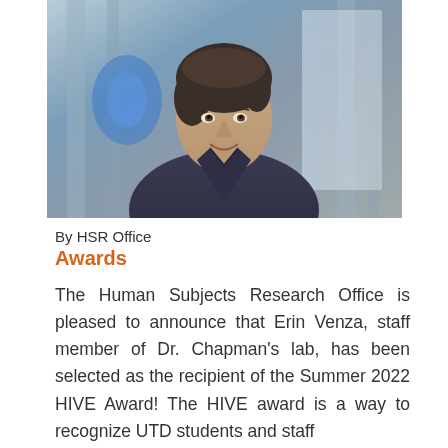[Figure (photo): Portrait photo of a woman with short dark hair, wearing a dark patterned shirt, smiling, with a modern indoor background featuring blue lighting and glass walls.]
By HSR Office
Awards
The Human Subjects Research Office is pleased to announce that Erin Venza, staff member of Dr. Chapman's lab, has been selected as the recipient of the Summer 2022 HIVE Award! The HIVE award is a way to recognize UTD students and staff